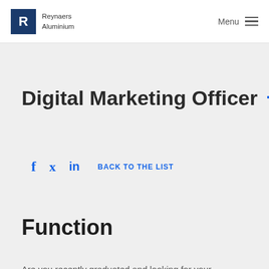Reynaers Aluminium | Menu
Digital Marketing Officer
f  in  BACK TO THE LIST
Function
Are you recently graduated and looking for your